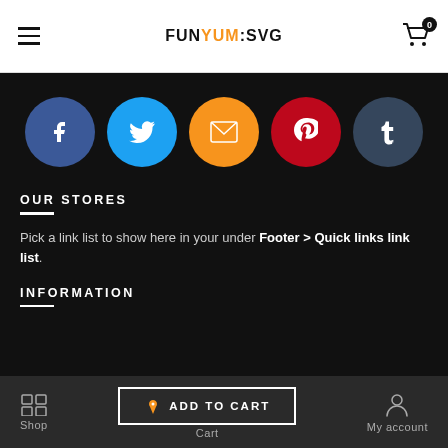FunYumSVG navigation bar with hamburger menu and cart icon (badge: 0)
[Figure (illustration): Row of 5 social media icon circles: Facebook (blue), Twitter (cyan), Email (orange), Pinterest (red), Tumblr (dark blue-grey)]
OUR STORES
Pick a link list to show here in your under Footer > Quick links link list.
INFORMATION
Shop | ADD TO CART | Cart | My account